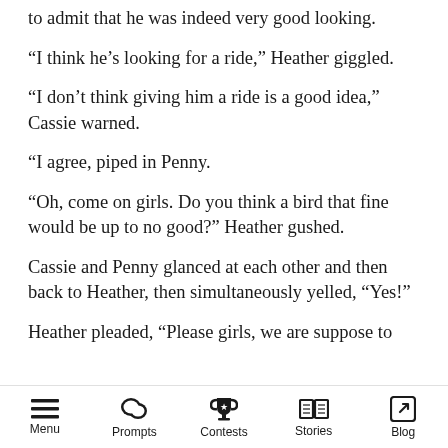to admit that he was indeed very good looking.
“I think he’s looking for a ride,” Heather giggled.
“I don’t think giving him a ride is a good idea,” Cassie warned.
“I agree, piped in Penny.
“Oh, come on girls. Do you think a bird that fine would be up to no good?” Heather gushed.
Cassie and Penny glanced at each other and then back to Heather, then simultaneously yelled, “Yes!”
Heather pleaded, “Please girls, we are suppose to
Menu | Prompts | Contests | Stories | Blog